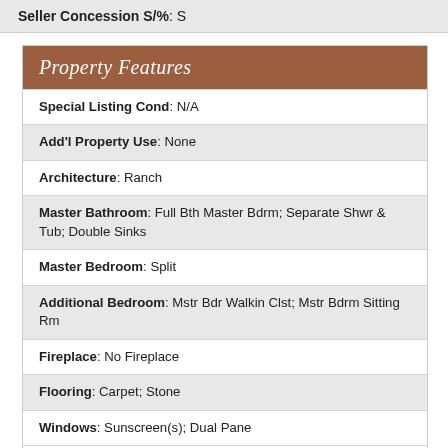Seller Concession S/%: S
Property Features
Special Listing Cond: N/A
Add'l Property Use: None
Architecture: Ranch
Master Bathroom: Full Bth Master Bdrm; Separate Shwr & Tub; Double Sinks
Master Bedroom: Split
Additional Bedroom: Mstr Bdr Walkin Clst; Mstr Bdrm Sitting Rm
Fireplace: No Fireplace
Flooring: Carpet; Stone
Windows: Sunscreen(s); Dual Pane
Pool Features: No Pool